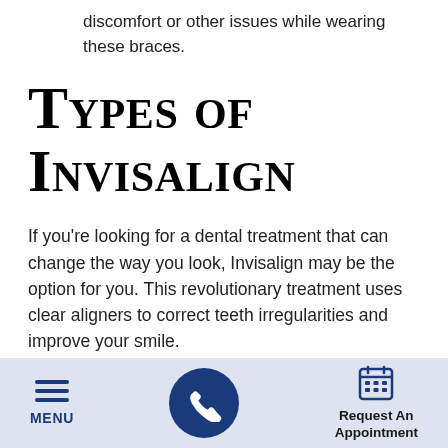discomfort or other issues while wearing these braces.
Types of Invisalign
If you're looking for a dental treatment that can change the way you look, Invisalign may be the option for you. This revolutionary treatment uses clear aligners to correct teeth irregularities and improve your smile.
MENU | [phone button] | Request An Appointment